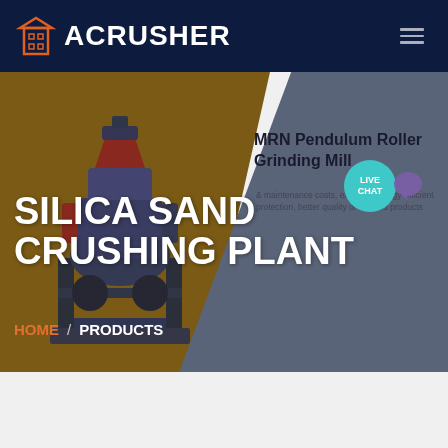ACRUSHER
[Figure (screenshot): Website screenshot showing ACRUSHER brand header with dark navy background, hamburger menu icon, and orange building logo icon]
[Figure (photo): Industrial pendulum roller grinding mill machine shown in dark blue tones on brown/golden background]
SILICA SAND CRUSHING PLANT
MRN Pendulum Roller Grinding Mill
& maintenance costs, excellent energy-efficient protection, better quality of finished products
HOME / PRODUCTS